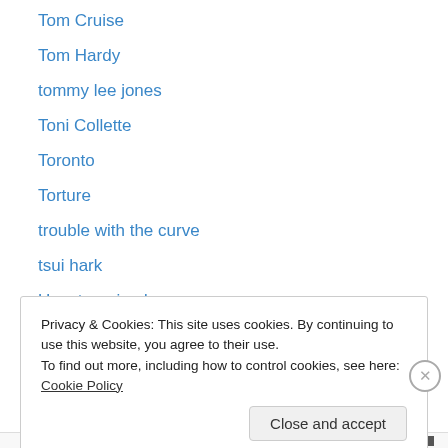Tom Cruise
Tom Hardy
tommy lee jones
Toni Collette
Toronto
Torture
trouble with the curve
tsui hark
Uncategorized
v/h/s
vamps
Venice
Viola Davis
Privacy & Cookies: This site uses cookies. By continuing to use this website, you agree to their use. To find out more, including how to control cookies, see here: Cookie Policy
Close and accept